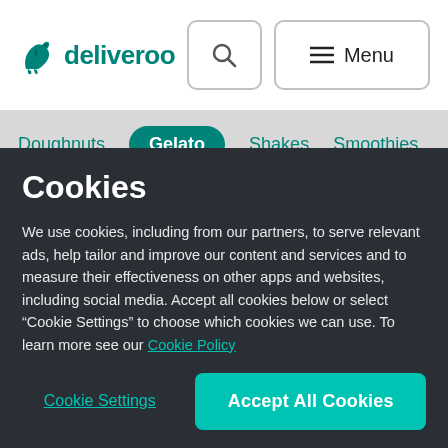[Figure (screenshot): Deliveroo website navigation bar with logo, search button, and menu button]
[Figure (screenshot): Category navigation bar showing Doughnuts, Gelato (active/selected), Shakes, Smoothies]
Cookies
We use cookies, including from our partners, to serve relevant ads, help tailor and improve our content and services and to measure their effectiveness on other apps and websites, including social media. Accept all cookies below or select “Cookie Settings” to choose which cookies we can use. To learn more see our Cookie Policy
Cookie Settings
Accept All Cookies